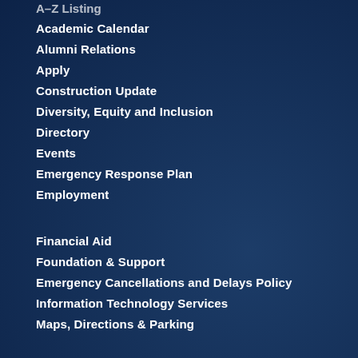Academic Calendar
Alumni Relations
Apply
Construction Update
Diversity, Equity and Inclusion
Directory
Events
Emergency Response Plan
Employment
Financial Aid
Foundation & Support
Emergency Cancellations and Delays Policy
Information Technology Services
Maps, Directions & Parking